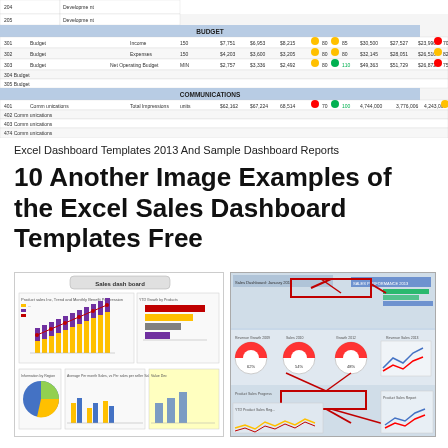[Figure (screenshot): Excel dashboard/spreadsheet template screenshot showing budget, communications, corporate training sections with colored indicator dots]
Excel Dashboard Templates 2013 And Sample Dashboard Reports
10 Another Image Examples of the Excel Sales Dashboard Templates Free
[Figure (screenshot): Sales dash board Excel template screenshot showing stacked bar charts of product sales, YTD growth by products, information by region, and average monthly sales]
[Figure (screenshot): Annotated Excel dashboard screenshot with red arrow annotations pointing to various dashboard elements]